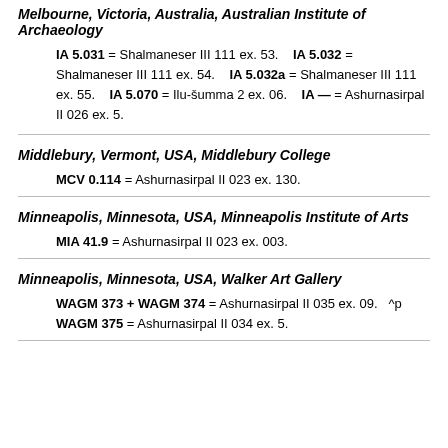Melbourne, Victoria, Australia, Australian Institute of Archaeology
IA 5.031 = Shalmaneser III 111 ex. 53.    IA 5.032 = Shalmaneser III 111 ex. 54.    IA 5.032a = Shalmaneser III 111 ex. 55.    IA 5.070 = Ilu-šumma 2 ex. 06.    IA — = Ashurnasirpal II 026 ex. 5.
Middlebury, Vermont, USA, Middlebury College
MCV 0.114 = Ashurnasirpal II 023 ex. 130.
Minneapolis, Minnesota, USA, Minneapolis Institute of Arts
MIA 41.9 = Ashurnasirpal II 023 ex. 003.
Minneapolis, Minnesota, USA, Walker Art Gallery
WAGM 373 + WAGM 374 = Ashurnasirpal II 035 ex. 09.   ^p WAGM 375 = Ashurnasirpal II 034 ex. 5.